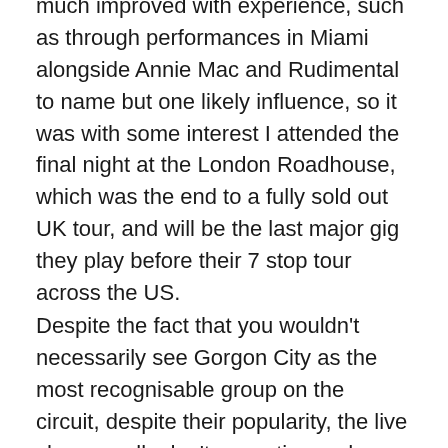much improved with experience, such as through performances in Miami alongside Annie Mac and Rudimental to name but one likely influence, so it was with some interest I attended the final night at the London Roadhouse, which was the end to a fully sold out UK tour, and will be the last major gig they play before their 7 stop tour across the US.
Despite the fact that you wouldn't necessarily see Gorgon City as the most recognisable group on the circuit, despite their popularity, the live shows really don't, sometimes, do them justice. That said, with the right atmosphere it really does work and with an ambitious set and some